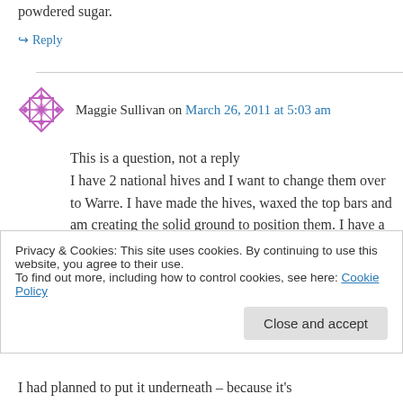powdered sugar.
↪ Reply
Maggie Sullivan on March 26, 2011 at 5:03 am
This is a question, not a reply
I have 2 national hives and I want to change them over to Warre. I have made the hives, waxed the top bars and am creating the solid ground to position them. I have a sturdy plywood square that has the outer dimensions of a
Privacy & Cookies: This site uses cookies. By continuing to use this website, you agree to their use.
To find out more, including how to control cookies, see here: Cookie Policy
Close and accept
I had planned to put it underneath – because it's